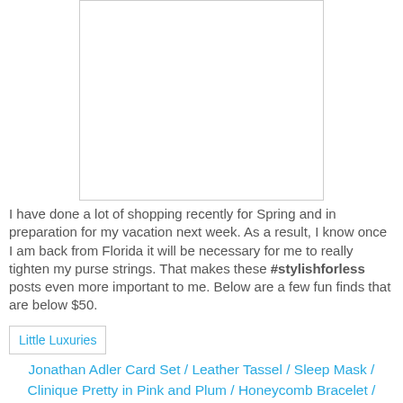[Figure (photo): White blank image placeholder centered on page]
I have done a lot of shopping recently for Spring and in preparation for my vacation next week. As a result, I know once I am back from Florida it will be necessary for me to really tighten my purse strings. That makes these #stylishforless posts even more important to me. Below are a few fun finds that are below $50.
[Figure (photo): Little Luxuries image]
Jonathan Adler Card Set / Leather Tassel / Sleep Mask / Clinique Pretty in Pink and Plum / Honeycomb Bracelet /